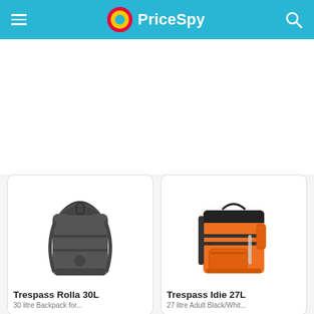PriceSpy
[Figure (photo): Dark grey roll-top backpack (Trespass Rolla 30L)]
Trespass Rolla 30L
30 litre Backpack for...
[Figure (photo): Orange backpack (Trespass Idie 27L)]
Trespass Idie 27L
27 litre Adult Black/Whit...